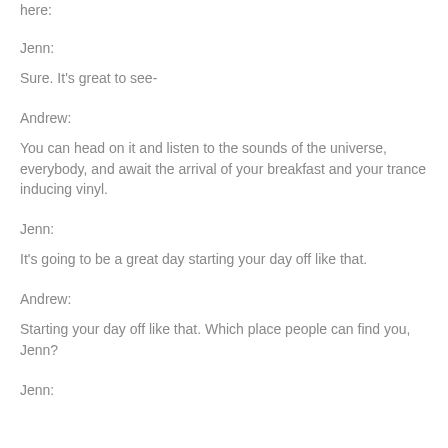here:
Jenn:
Sure. It's great to see-
Andrew:
You can head on it and listen to the sounds of the universe, everybody, and await the arrival of your breakfast and your trance inducing vinyl.
Jenn:
It's going to be a great day starting your day off like that.
Andrew:
Starting your day off like that. Which place people can find you, Jenn?
Jenn: